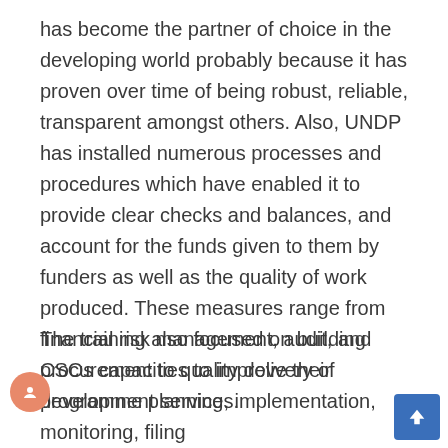has become the partner of choice in the developing world probably because it has proven over time of being robust, reliable, transparent amongst others. Also, UNDP has installed numerous processes and procedures which have enabled it to provide clear checks and balances, and account for the funds given to them by funders as well as the quality of work produced. These measures range from financial risk management, audit, and procurement to quality delivery of development services.
The training also focused on building CSOs capacities to improve their programme planning, implementation, monitoring, filing